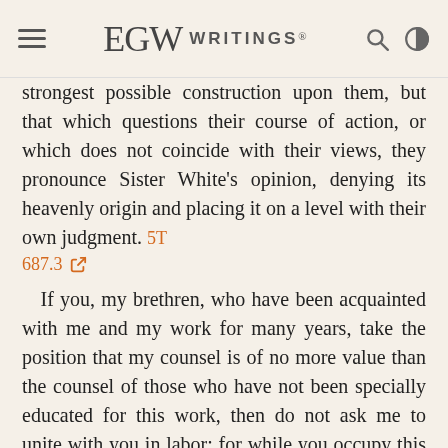EGW WRITINGS®
strongest possible construction upon them, but that which questions their course of action, or which does not coincide with their views, they pronounce Sister White's opinion, denying its heavenly origin and placing it on a level with their own judgment. 5T 687.3
If you, my brethren, who have been acquainted with me and my work for many years, take the position that my counsel is of no more value than the counsel of those who have not been specially educated for this work, then do not ask me to unite with you in labor; for while you occupy this position, you will inevitably counteract the influence of my work. If you feel just as safe in following your own impulses as in following the light given by God's